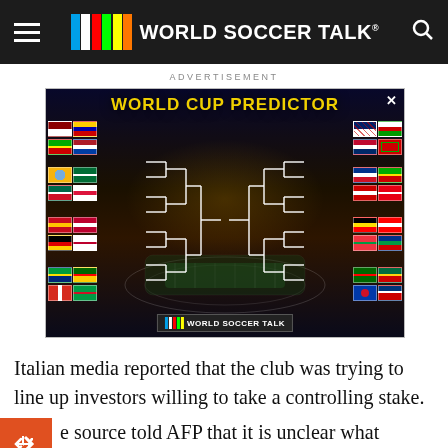WORLD SOCCER TALK
ADVERTISEMENT
[Figure (infographic): World Cup Predictor advertisement banner showing country flags arranged in a bracket tournament format on a dark stadium background, with 'WORLD CUP PREDICTOR' text in yellow and World Soccer Talk logo at bottom.]
Italian media reported that the club was trying to line up investors willing to take a controlling stake.
e source told AFP that it is unclear what Elliott